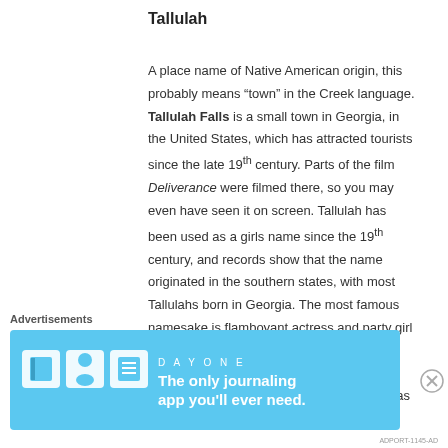Tallulah
A place name of Native American origin, this probably means “town” in the Creek language. Tallulah Falls is a small town in Georgia, in the United States, which has attracted tourists since the late 19th century. Parts of the film Deliverance were filmed there, so you may even have seen it on screen. Tallulah has been used as a girls name since the 19th century, and records show that the name originated in the southern states, with most Tallulahs born in Georgia. The most famous namesake is flamboyant actress and party girl Tallulah Bankhead, who was from Alabama, and named after her grandmother. Despite being a name of American origin, Tallulah has never charted in the US, and is
Advertisements
[Figure (other): Day One journaling app advertisement banner with icons and tagline: The only journaling app you’ll ever need.]